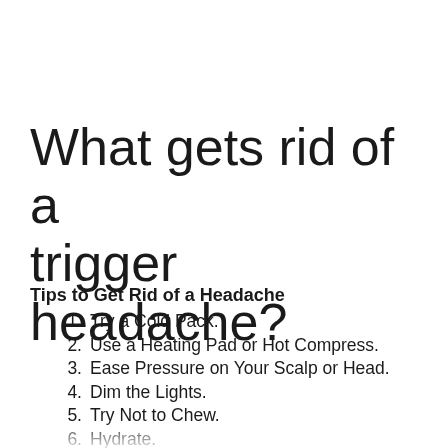What gets rid of a trigger headache?
Tips to Get Rid of a Headache
Try a Cold Pack.
Use a Heating Pad or Hot Compress.
Ease Pressure on Your Scalp or Head.
Dim the Lights.
Try Not to Chew.
Hydrate.
Get Some Caffeine.
Practice Relaxation...